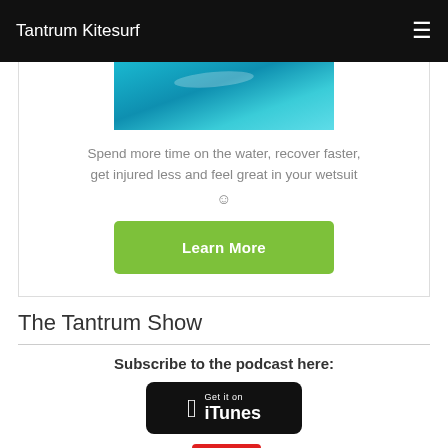Tantrum Kitesurf
[Figure (photo): Partial ocean/water photo showing blue-green water surface, cropped at top]
Spend more time on the water, recover faster, get injured less and feel great in your wetsuit ☺
Learn More
The Tantrum Show
Subscribe to the podcast here:
[Figure (logo): Get it on iTunes badge - black rounded rectangle with Apple logo and iTunes text]
[Figure (logo): YouTube logo - partially visible at bottom of page]